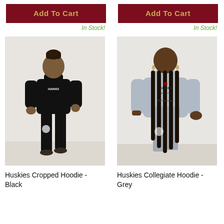[Figure (other): Button: Add To Cart (dark red background, gold text) - left product]
In Stock!
[Figure (photo): Woman wearing black Huskies Cropped Hoodie and black joggers]
Huskies Cropped Hoodie - Black
[Figure (other): Button: Add To Cart (dark red background, gold text) - right product]
In Stock!
[Figure (photo): Woman wearing grey Huskies Collegiate Hoodie and grey joggers]
Huskies Collegiate Hoodie - Grey